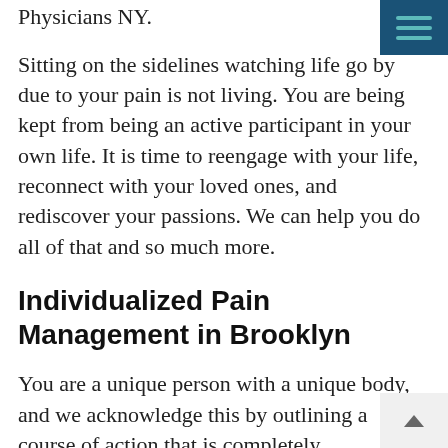Physicians NY.
Sitting on the sidelines watching life go by due to your pain is not living. You are being kept from being an active participant in your own life. It is time to reengage with your life, reconnect with your loved ones, and rediscover your passions. We can help you do all of that and so much more.
Individualized Pain Management in Brooklyn
You are a unique person with a unique body, and we acknowledge this by outlining a course of action that is completely individualized. At Pain Physicians NY, there is no trying to fit you into a pre-packaged, cookie-cutter program here. You will receive the highest quality of patient-specific care.
We are your support system. We are your guide rail. We